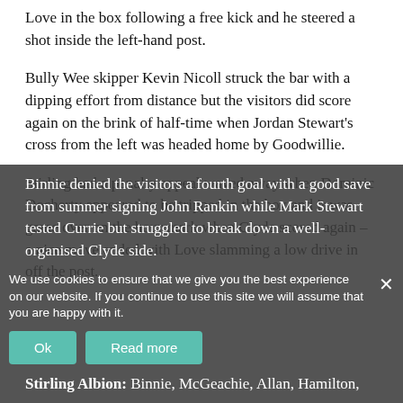Love in the box following a free kick and he steered a shot inside the left-hand post.
Bully Wee skipper Kevin Nicoll struck the bar with a dipping effort from distance but the visitors did score again on the brink of half-time when Jordan Stewart's cross from the left was headed home by Goodwillie.
Stirling had a penalty appeal waved away when Dominic Docherty appeared to be tripped in the box and it was game over on the hour mark when Clyde scored again – a nice move ended with Love slamming a low drive in off the post.
Binnie denied the visitors a fourth goal with a good save from summer signing John Rankin while Mark Stewart tested Currie but struggled to break down a well-organised Clyde side.
We use cookies to ensure that we give you the best experience on our website. If you continue to use this site we will assume that you are happy with it.
Stirling Albion: Binnie, McGeachie, Allan, Hamilton,